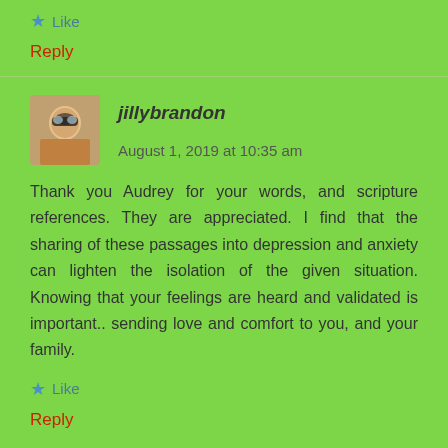★ Like
Reply
jillybrandon   August 1, 2019 at 10:35 am
[Figure (photo): Profile photo of jillybrandon, a woman wearing sunglasses outdoors]
Thank you Audrey for your words, and scripture references. They are appreciated. I find that the sharing of these passages into depression and anxiety can lighten the isolation of the given situation. Knowing that your feelings are heard and validated is important.. sending love and comfort to you, and your family.
★ Like
Reply